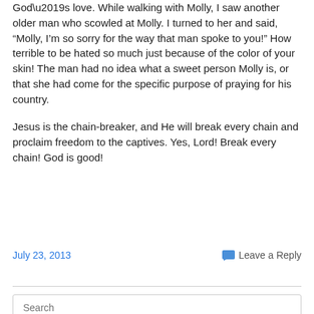God’s love.  While walking with Molly, I saw another older man who scowled at Molly.  I turned to her and said, “Molly, I’m so sorry for the way that man spoke to you!”  How terrible to be hated so much just because of the color of your skin!  The man had no idea what a sweet person Molly is, or that she had come for the specific purpose of praying for his country.
Jesus is the chain-breaker, and He will break every chain and proclaim freedom to the captives.  Yes, Lord!  Break every chain!  God is good!
July 23, 2013   Leave a Reply
Search